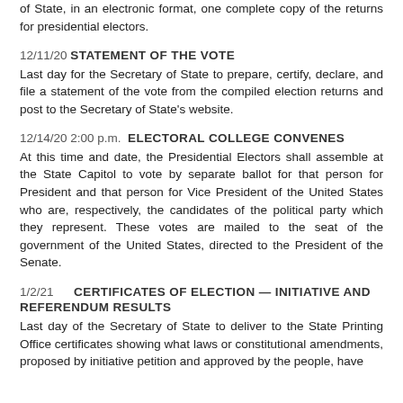of State, in an electronic format, one complete copy of the returns for presidential electors.
12/11/20 STATEMENT OF THE VOTE — Last day for the Secretary of State to prepare, certify, declare, and file a statement of the vote from the compiled election returns and post to the Secretary of State's website.
12/14/20 2:00 p.m. ELECTORAL COLLEGE CONVENES — At this time and date, the Presidential Electors shall assemble at the State Capitol to vote by separate ballot for that person for President and that person for Vice President of the United States who are, respectively, the candidates of the political party which they represent. These votes are mailed to the seat of the government of the United States, directed to the President of the Senate.
1/2/21 CERTIFICATES OF ELECTION — INITIATIVE AND REFERENDUM RESULTS — Last day of the Secretary of State to deliver to the State Printing Office certificates showing what laws or constitutional amendments, proposed by initiative petition and approved by the people, have